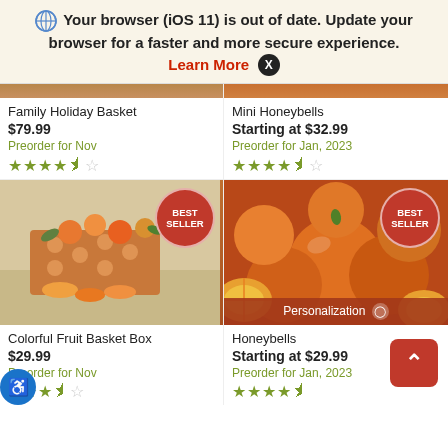Your browser (iOS 11) is out of date. Update your browser for a faster and more secure experience. Learn More ✕
Family Holiday Basket
$79.99
Preorder for Nov
★★★★½
Mini Honeybells
Starting at $32.99
Preorder for Jan, 2023
★★★★½
[Figure (photo): Colorful Fruit Basket Box product photo with BEST SELLER badge]
[Figure (photo): Honeybells oranges photo with BEST SELLER badge and Personalization bar]
Colorful Fruit Basket Box
$29.99
Preorder for Nov
Honeybells
Starting at $29.99
Preorder for Jan, 2023